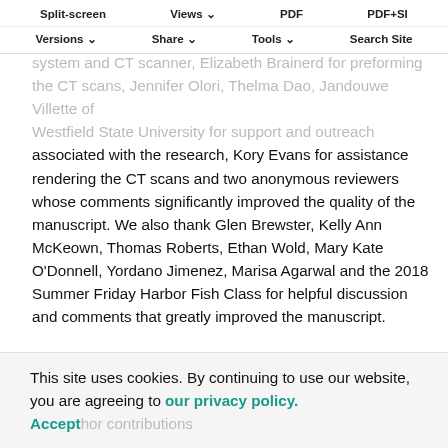Split-screen  Views  PDF  PDF+SI  Versions  Share  Tools  Search Site
University of Washington Friday Harbor Laboratories' MTS system and CT scanner, Elizabeth Brainerd for preforming the CT scans, Jennifer Olori, Thelma Dao, Jandouwe Villette of Westfield State University for support and outreach associated with the research, Kory Evans for assistance rendering the CT scans and two anonymous reviewers whose comments significantly improved the quality of the manuscript. We also thank Glen Brewster, Kelly Ann McKeown, Thomas Roberts, Ethan Wold, Mary Kate O'Donnell, Yordano Jimenez, Marisa Agarwal and the 2018 Summer Friday Harbor Fish Class for helpful discussion and comments that greatly improved the manuscript.
This site uses cookies. By continuing to use our website, you are agreeing to our privacy policy. Accept
Author contributions